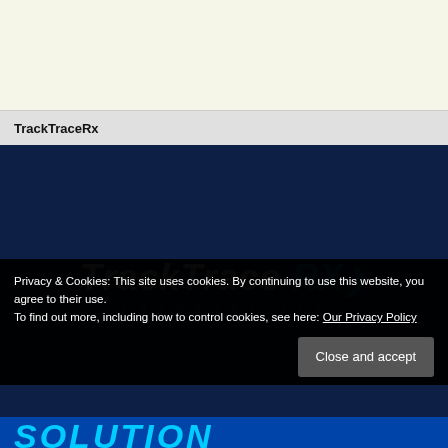TrackTraceRx
[Figure (logo): TrackTrace RX Traceability logo on dark navy blue background with italic bold white and blue lettering and the word TRACEABILITY below in spaced grey letters]
Privacy & Cookies: This site uses cookies. By continuing to use this website, you agree to their use.
To find out more, including how to control cookies, see here: Our Privacy Policy
Close and accept
SOLUTION